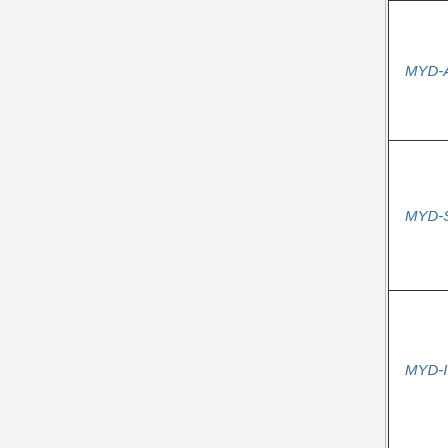| Board | Manufacturer | Chip |
| --- | --- | --- |
| MYD-AM335X | MYIR | TI AM... |
| MYD-SAMA5D3X | MYIR | Atme... |
| MYD-IMX28X | MYIR | Free... |
|  |  |  |